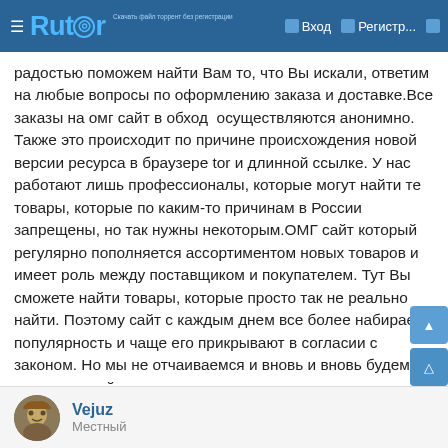☰ Rutor  Вход  Регистр...
радостью поможем найти Вам то, что Вы искали, ответим на любые вопросы по оформлению заказа и доставке.Все заказы на омг сайт в обход  осуществляются анонимно. Также это происходит по причине происхождения новой версии ресурса в браузере tor и длинной ссылке. У нас работают лишь профессионалы, которые могут найти те товары, которые по каким-то причинам в России запрещены, но так нужны некоторым.ОМГ сайт который регулярно пополняется ассортиментом новых товаров и имеет роль между поставщиком и покупателем. Тут Вы сможете найти товары, которые просто так не реально найти. Поэтому сайт с каждым днем все более набирает популярность и чаще его прикрывают в согласии с законом. Но мы не отчаиваемся и вновь и вновь будем создавать сайты-зеркала, такие как omgclubbioknikokex7nchid.gidraomg.com в интернете.
Vejuz
Местный